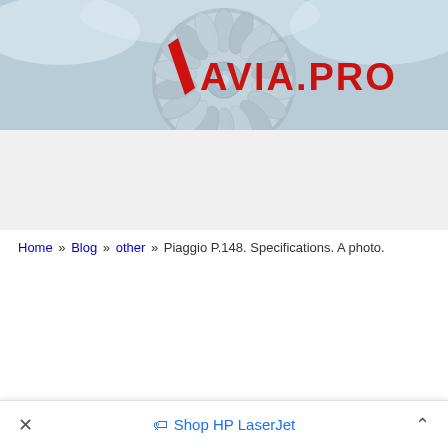[Figure (photo): Aviation website header banner showing a jet turbine engine fan in silver/chrome tones with blue-grey sky background and AVIA.PRO logo in red with a red slash/chevron icon]
Home » Blog » other » Piaggio P.148. Specifications. A photo.
Shop HP LaserJet